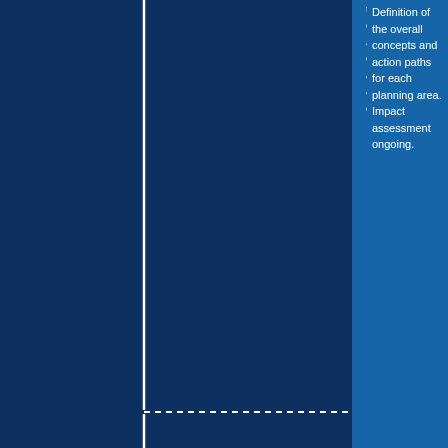[Figure (infographic): Timeline infographic with dark navy left panel, vertical white line, '2019' rotated year label, dashed horizontal line, and medium blue right content panel]
Definition of the overall concepts and action paths for each planning area. Impact assessment ongoing.